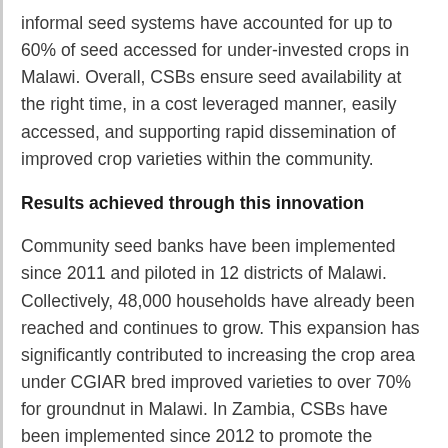informal seed systems have accounted for up to 60% of seed accessed for under-invested crops in Malawi. Overall, CSBs ensure seed availability at the right time, in a cost leveraged manner, easily accessed, and supporting rapid dissemination of improved crop varieties within the community.
Results achieved through this innovation
Community seed banks have been implemented since 2011 and piloted in 12 districts of Malawi. Collectively, 48,000 households have already been reached and continues to grow. This expansion has significantly contributed to increasing the crop area under CGIAR bred improved varieties to over 70% for groundnut in Malawi. In Zambia, CSBs have been implemented since 2012 to promote the improved varieties of pigeonpea and groundnut in its Eastern Province, the country's food basket. In Mozambique, a similar approach has been implemented since 2012 in food basket provinces